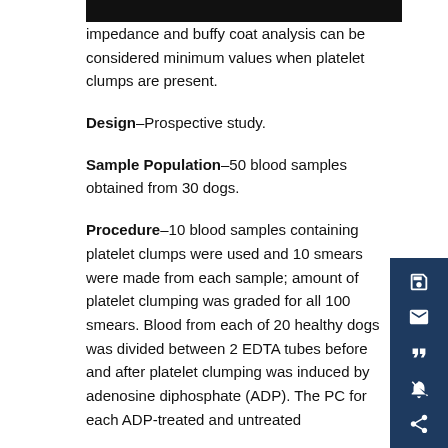impedance and buffy coat analysis can be considered minimum values when platelet clumps are present.
Design–Prospective study.
Sample Population–50 blood samples obtained from 30 dogs.
Procedure–10 blood samples containing platelet clumps were used and 10 smears were made from each sample; amount of platelet clumping was graded for all 100 smears. Blood from each of 20 healthy dogs was divided between 2 EDTA tubes before and after platelet clumping was induced by adenosine diphosphate (ADP). The PC for each ADP-treated and untreated